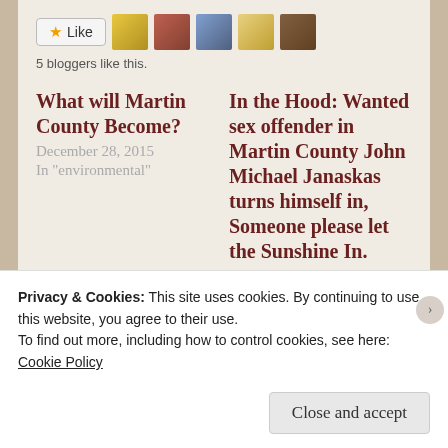[Figure (other): Like button with star icon and 5 avatar thumbnails of bloggers]
5 bloggers like this.
What will Martin County Become?
December 28, 2015
In "environmental"
In the Hood: Wanted sex offender in Martin County John Michael Janaskas turns himself in, Someone please let the Sunshine In.
November 12, 2015
In "addiction"
Privacy & Cookies: This site uses cookies. By continuing to use this website, you agree to their use.
To find out more, including how to control cookies, see here:
Cookie Policy
Close and accept